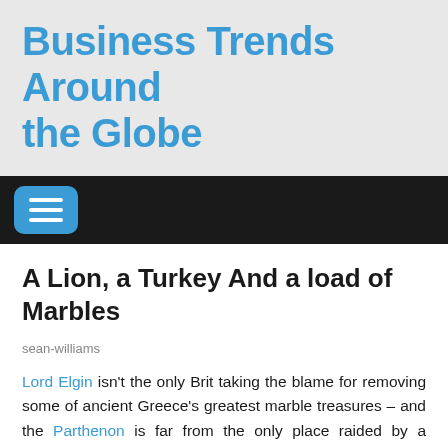Business Trends Around the Globe
[Figure (other): Dark navigation bar with a blue rounded hamburger menu button containing three white horizontal lines]
A Lion, a Turkey And a load of Marbles
sean-williams
Lord Elgin isn't the only Brit taking the blame for removing some of ancient Greece's greatest marble treasures – and the Parthenon is far from the only place raided by a zealous Brit in a bid to bring the ancient world to the smoggy streets of London. During an extensive dig carried out between 1857-59, Newton and his merry band of hacks travelled to the Ottoman – now Turkish – peninsula of Datca, where they began excavating the famous merchant city of Knidos – a picturesque Monte Carlo of the ancient Greek world, famous for